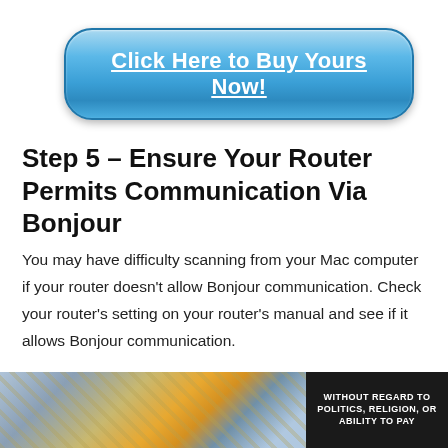[Figure (other): Blue rounded button with text 'Click Here to Buy Yours Now!']
Step 5 – Ensure Your Router Permits Communication Via Bonjour
You may have difficulty scanning from your Mac computer if your router doesn't allow Bonjour communication. Check your router's setting on your router's manual and see if it allows Bonjour communication.
If the manual does not state this, then contact your router's manufacturer to find out. You may also connect to another router
[Figure (photo): Advertisement image showing an airplane being loaded with cargo, with a dark panel on the right reading 'WITHOUT REGARD TO POLITICS, RELIGION, OR ABILITY TO PAY']